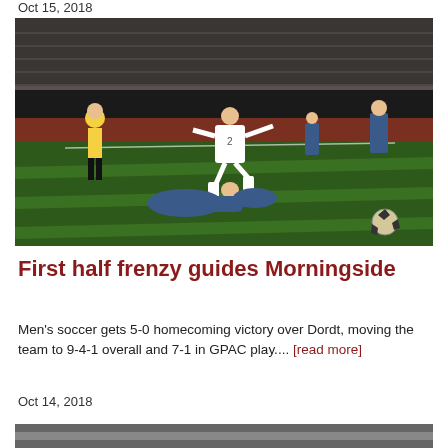Oct 15, 2018
[Figure (photo): Night soccer match photo: player in white jersey number 2 leaping over a fallen opponent in blue, referee in yellow in background, on green turf field]
First half frenzy guides Morningside
Men's soccer gets 5-0 homecoming victory over Dordt, moving the team to 9-4-1 overall and 7-1 in GPAC play.... [read more]
Oct 14, 2018
[Figure (photo): Partial photo at bottom of page, cropped]